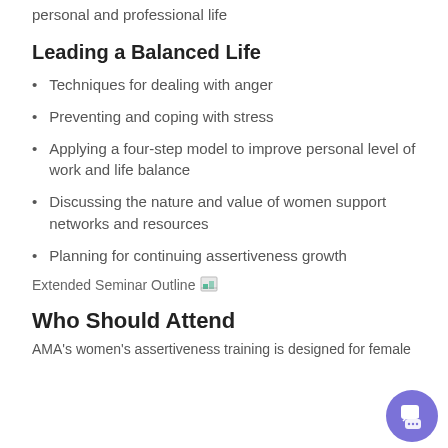personal and professional life
Leading a Balanced Life
Techniques for dealing with anger
Preventing and coping with stress
Applying a four-step model to improve personal level of work and life balance
Discussing the nature and value of women support networks and resources
Planning for continuing assertiveness growth
Extended Seminar Outline
Who Should Attend
AMA's women's assertiveness training is designed for female